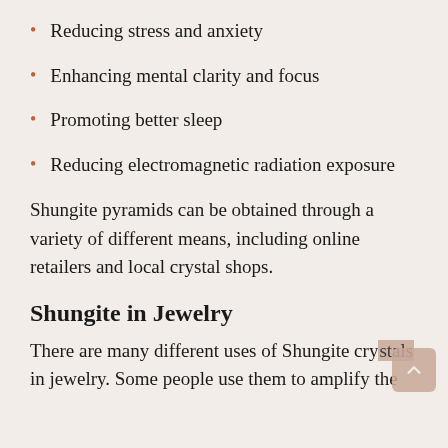Reducing stress and anxiety
Enhancing mental clarity and focus
Promoting better sleep
Reducing electromagnetic radiation exposure
Shungite pyramids can be obtained through a variety of different means, including online retailers and local crystal shops.
Shungite in Jewelry
There are many different uses of Shungite crystals in jewelry. Some people use them to amplify the